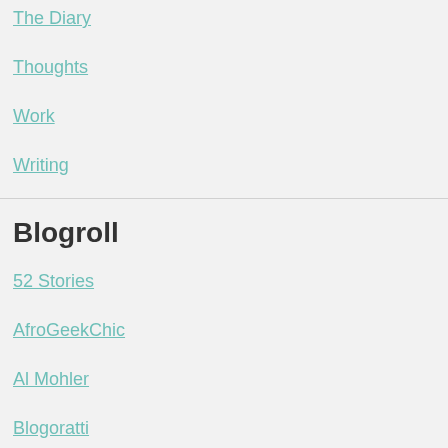The Diary
Thoughts
Work
Writing
Blogroll
52 Stories
AfroGeekChic
Al Mohler
Blogoratti